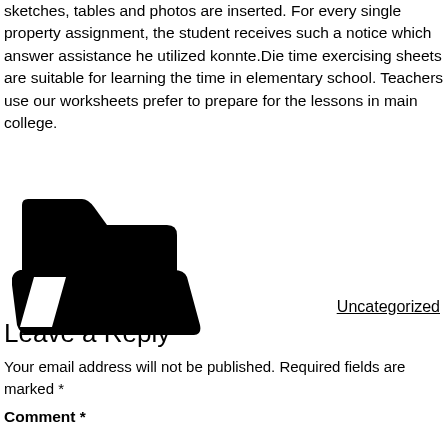sketches, tables and photos are inserted. For every single property assignment, the student receives such a notice which answer assistance he utilized konnte.Die time exercising sheets are suitable for learning the time in elementary school. Teachers use our worksheets prefer to prepare for the lessons in main college.
[Figure (illustration): Black folder icon — open folder silhouette in black on white background]
Uncategorized
Leave a Reply
Your email address will not be published. Required fields are marked *
Comment *